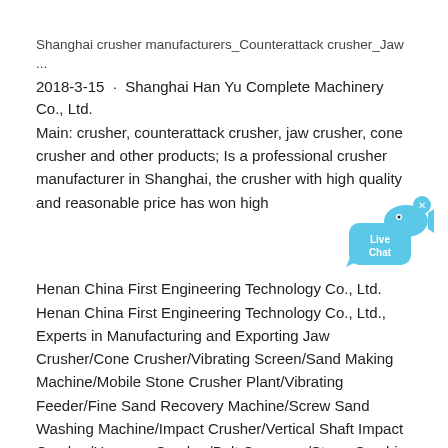Shanghai crusher manufacturers_Counterattack crusher_Jaw ...
2018-3-15 · Shanghai Han Yu Complete Machinery Co., Ltd. Main: crusher, counterattack crusher, jaw crusher, cone crusher and other products; Is a professional crusher manufacturer in Shanghai, the crusher with high quality and reasonable price has won high
[Figure (illustration): Live Chat button with speech bubble and fish icon in blue colors, with a small X close button]
Henan China First Engineering Technology Co., Ltd.
Henan China First Engineering Technology Co., Ltd., Experts in Manufacturing and Exporting Jaw Crusher/Cone Crusher/Vibrating Screen/Sand Making Machine/Mobile Stone Crusher Plant/Vibrating Feeder/Fine Sand Recovery Machine/Screw Sand Washing Machine/Impact Crusher/Vertical Shaft Impact Crusher/Hammer Crusher/Belt Conveyor/Stone Crushing Plant/Sand Making Plant/Sand ...